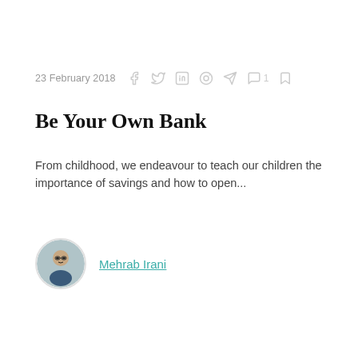23 February 2018
Be Your Own Bank
From childhood, we endeavour to teach our children the importance of savings and how to open...
Mehrab Irani